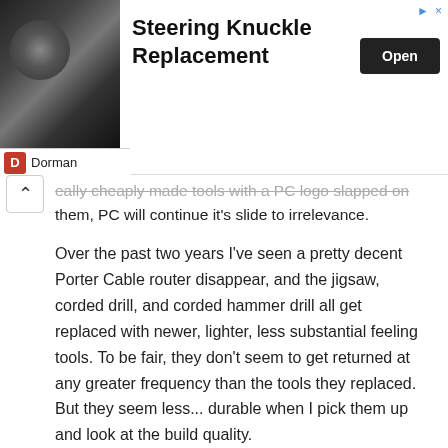[Figure (screenshot): Advertisement banner for Steering Knuckle Replacement by Dorman, with a dark mechanical image on the left, bold title text, and an Open button on the right.]
...eally cheaply made tools with a PC logo slapped on them, PC will continue it's slide to irrelevance.
Over the past two years I've seen a pretty decent Porter Cable router disappear, and the jigsaw, corded drill, and corded hammer drill all get replaced with newer, lighter, less substantial feeling tools. To be fair, they don't seem to get returned at any greater frequency than the tools they replaced. But they seem less... durable when I pick them up and look at the build quality.
One ray of hope: if Porter Cable would use the same manufacturer and build quality for its bench top tools as it does for its floor standing drill press and band saw, it would deliver some pretty decent tools. I'm hoping for